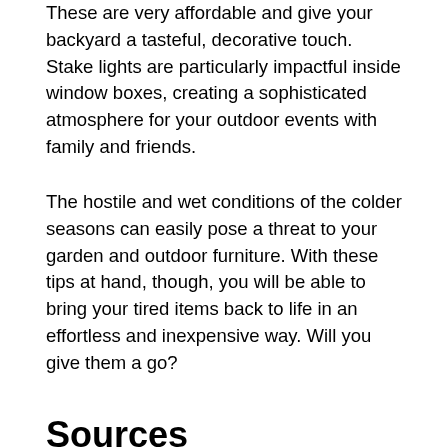These are very affordable and give your backyard a tasteful, decorative touch. Stake lights are particularly impactful inside window boxes, creating a sophisticated atmosphere for your outdoor events with family and friends.
The hostile and wet conditions of the colder seasons can easily pose a threat to your garden and outdoor furniture. With these tips at hand, though, you will be able to bring your tired items back to life in an effortless and inexpensive way. Will you give them a go?
Sources
https://www.idealhome.co.uk/care-and-cleaning/clean-restore-garden-furniture-172246